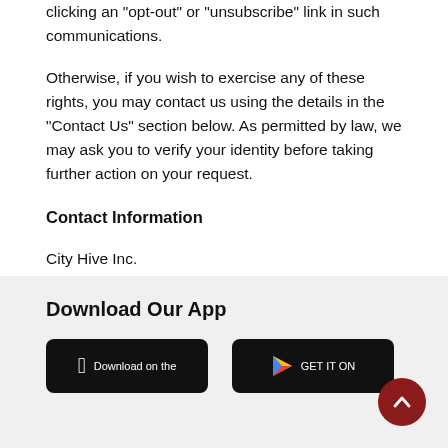clicking an "opt-out" or "unsubscribe" link in such communications.
Otherwise, if you wish to exercise any of these rights, you may contact us using the details in the "Contact Us" section below. As permitted by law, we may ask you to verify your identity before taking further action on your request.
Contact Information
City Hive Inc.
7 World Trade Center | 250 Greenwich St.
New York, NY 10007
legal@cityhive.net
Download Our App
[Figure (other): App store download buttons: Apple App Store and Google Play Store]